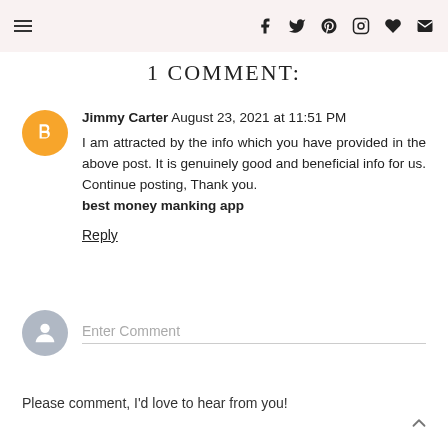1 COMMENT:
Jimmy Carter August 23, 2021 at 11:51 PM
I am attracted by the info which you have provided in the above post. It is genuinely good and beneficial info for us. Continue posting, Thank you.
best money manking app
Reply
Enter Comment
Please comment, I'd love to hear from you!